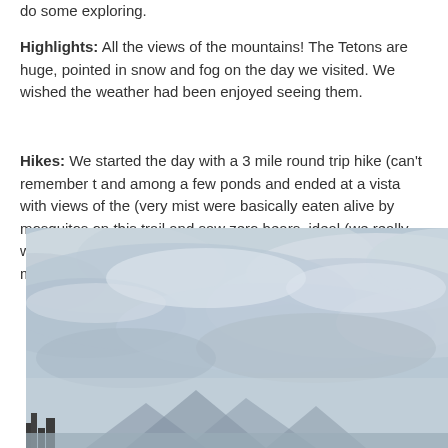do some exploring.
Highlights: All the views of the mountains! The Tetons are huge, pointed in snow and fog on the day we visited. We wished the weather had been enjoyed seeing them.
Hikes: We started the day with a 3 mile round trip hike (can't remember t and among a few ponds and ended at a vista with views of the (very mist were basically eaten alive by mosquitos on this trail and saw zero bears, ideal (we really wanted to see another bear and the signs indicated it was mile hike up Signal Mountain for more really pretty views.
[Figure (photo): Overcast sky with heavy grey and white clouds; some dark treetops and mountain silhouettes visible at the bottom of the image.]